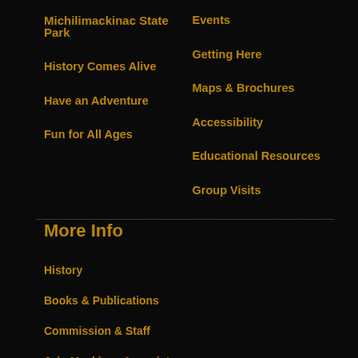Michilimackinac State Park
Events
History Comes Alive
Getting Here
Have an Adventure
Maps & Brochures
Fun for All Ages
Accessibility
Educational Resources
Group Visits
More Info
History
Books & Publications
Commission & Staff
Join Mackinac Associates
Employment Opportunities